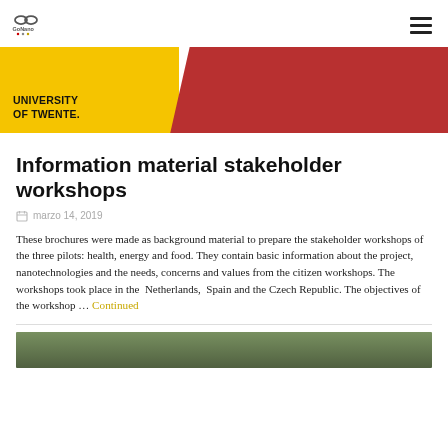GoNano logo and navigation hamburger menu
[Figure (photo): Hero image with University of Twente yellow and red branding banner]
Information material stakeholder workshops
marzo 14, 2019
These brochures were made as background material to prepare the stakeholder workshops of the three pilots: health, energy and food. They contain basic information about the project, nanotechnologies and the needs, concerns and values from the citizen workshops. The workshops took place in the Netherlands, Spain and the Czech Republic. The objectives of the workshop … Continued
[Figure (photo): Bottom photo showing what appears to be a building with glass windows and greenery]